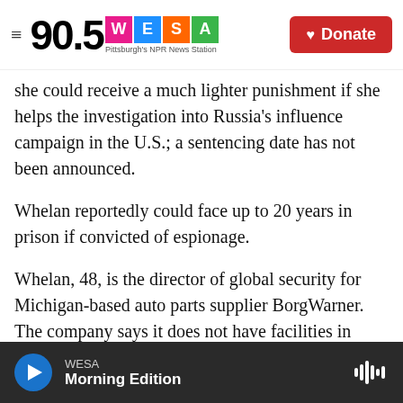90.5 WESA — Pittsburgh's NPR News Station | Donate
she could receive a much lighter punishment if she helps the investigation into Russia's influence campaign in the U.S.; a sentencing date has not been announced.
Whelan reportedly could face up to 20 years in prison if convicted of espionage.
Whelan, 48, is the director of global security for Michigan-based auto parts supplier BorgWarner. The company says it does not have facilities in Russia, but The Washington Post reports the supplier does have business contracts in the country. Before joining BorgWarner, The Guardian
WESA — Morning Edition